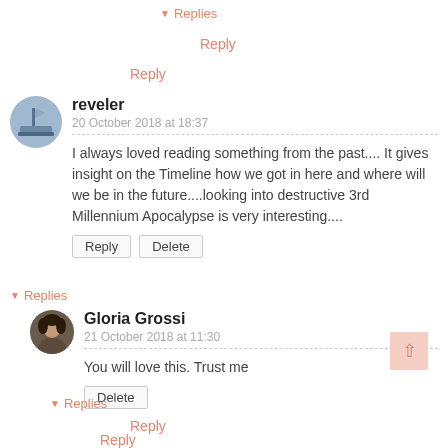▼ Replies
Reply
Reply
reveler
20 October 2018 at 18:37
I always loved reading something from the past.... It gives insight on the Timeline how we got in here and where will we be in the future....looking into destructive 3rd Millennium Apocalypse is very interesting....
Reply  Delete
▼ Replies
Gloria Grossi
21 October 2018 at 11:30
You will love this. Trust me
Delete
▼ Replies
Reply
Reply